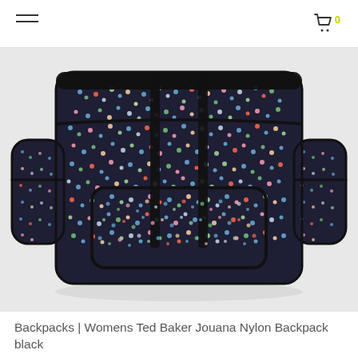[Figure (photo): Ted Baker Jouana Nylon Backpack in black with multicolor ditsy floral print, showing front view with zip details and side pockets]
Backpacks | Womens Ted Baker Jouana Nylon Backpack black